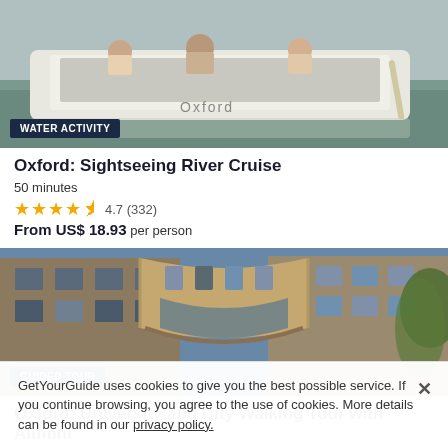[Figure (photo): People on a white river cruise boat on water, partial view]
WATER ACTIVITY
Oxford: Sightseeing River Cruise
50 minutes
4.7 (332)
From US$ 18.93 per person
[Figure (photo): Bridge of Sighs in Oxford, ornate stone arch bridge connecting two buildings]
GUIDED TOUR
Oxford: University and City Walking Tour with Alumni
GetYourGuide uses cookies to give you the best possible service. If you continue browsing, you agree to the use of cookies. More details can be found in our privacy policy.